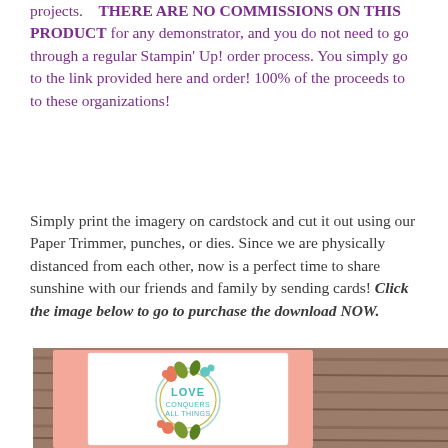projects.   THERE ARE NO COMMISSIONS ON THIS PRODUCT for any demonstrator, and you do not need to go through a regular Stampin' Up! order process. You simply go to the link provided here and order! 100% of the proceeds to to these organizations!
Simply print the imagery on cardstock and cut it out using our Paper Trimmer, punches, or dies. Since we are physically distanced from each other, now is a perfect time to share sunshine with our friends and family by sending cards! Click the image below to go to purchase the download NOW.
[Figure (photo): A greeting card with a floral wreath design and the text 'LOVE CONQUERS ALL THINGS' placed on a pink envelope, resting on a wooden surface.]